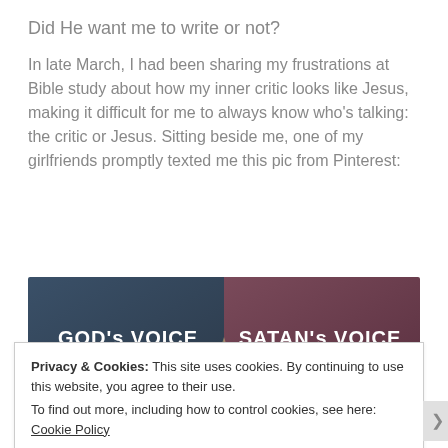Did He want me to write or not?
In late March, I had been sharing my frustrations at Bible study about how my inner critic looks like Jesus, making it difficult for me to always know who’s talking: the critic or Jesus. Sitting beside me, one of my girlfriends promptly texted me this pic from Pinterest:
[Figure (photo): Dark gradient background image split into two sides: left side labeled 'GOD’s VOICE' in white bold text, right side labeled 'SATAN’s VOICE' in white bold text, with a bright light peak in the center bottom]
Privacy & Cookies: This site uses cookies. By continuing to use this website, you agree to their use.
To find out more, including how to control cookies, see here: Cookie Policy
Close and accept